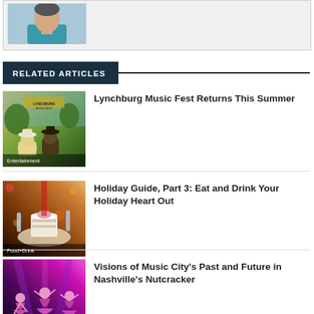[Figure (photo): Partial portrait photo of a person in a teal/blue top, cropped at top]
RELATED ARTICLES
[Figure (photo): Outdoor music festival scene with people in hats; Lynchburg Music Fest banner visible. Category label: Entertainment]
Lynchburg Music Fest Returns This Summer
[Figure (photo): Holiday table setting with decorative cake, glasses, and red ribbons. Category label: Food+Drink]
Holiday Guide, Part 3: Eat and Drink Your Holiday Heart Out
[Figure (photo): Ballet dancers in pink/purple tutus performing on stage under colorful lights. Category label: Arts & Culture]
Visions of Music City's Past and Future in Nashville's Nutcracker